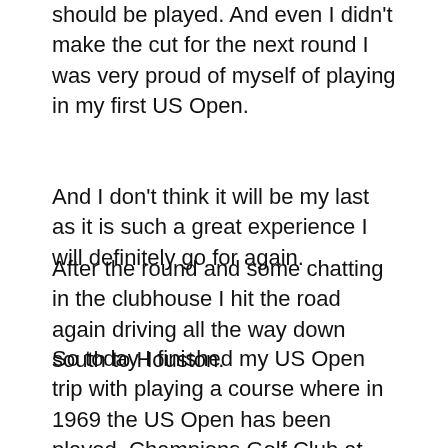should be played. And even I didn't make the cut for the next round I was very proud of myself of playing in my first US Open.
And I don't think it will be my last as it is such a great experience I will definitely go for again.
After the round and some chatting in the clubhouse I hit the road again driving all the way down south to Houston.
So today I finished my US Open trip with playing a course where in 1969 the US Open has been played. Champions Golf Club at Houston is one of only 3 courses in Texas that have ever hosted the US Open in Texas. It is a very private Golf Club and hosted the 2008 US Women's O...